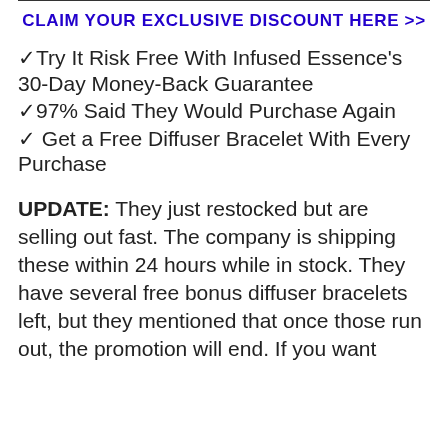CLAIM YOUR EXCLUSIVE DISCOUNT HERE >>
✓Try It Risk Free With Infused Essence's 30-Day Money-Back Guarantee
✓97% Said They Would Purchase Again
✓ Get a Free Diffuser Bracelet With Every Purchase
UPDATE: They just restocked but are selling out fast. The company is shipping these within 24 hours while in stock. They have several free bonus diffuser bracelets left, but they mentioned that once those run out, the promotion will end. If you want